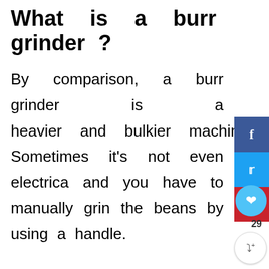What is a burr grinder ?
By comparison, a burr grinder is a heavier and bulkier machine. Sometimes it's not even electrical and you have to manually grind the beans by using a handle.
The way the burr grinder works is that instead of the blades, it has two rough surfaces that com...